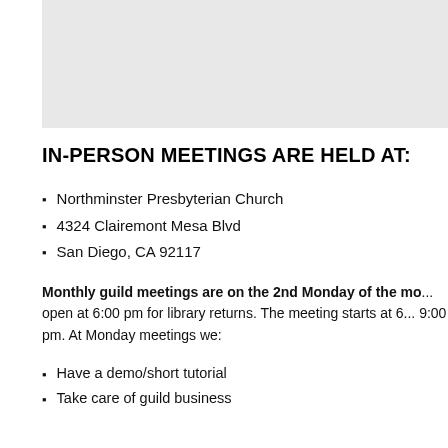[Figure (map): Map area showing location, light gray background]
IN-PERSON MEETINGS ARE HELD AT:
Northminster Presbyterian Church
4324 Clairemont Mesa Blvd
San Diego, CA 92117
Monthly guild meetings are on the 2nd Monday of the mo... open at 6:00 pm for library returns. The meeting starts at 6... 9:00 pm. At Monday meetings we:
Have a demo/short tutorial
Take care of guild business